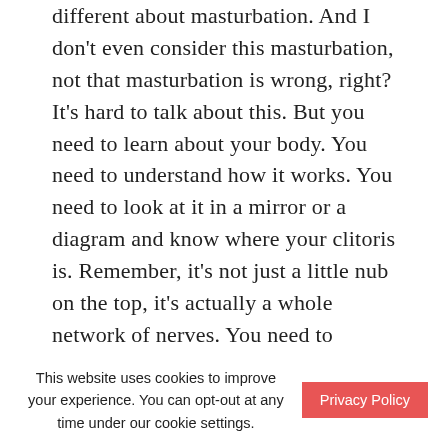different about masturbation. And I don't even consider this masturbation, not that masturbation is wrong, right? It's hard to talk about this. But you need to learn about your body. You need to understand how it works. You need to look at it in a mirror or a diagram and know where your clitoris is. Remember, it's not just a little nub on the top, it's actually a whole network of nerves. You need to understand where your vagina is, and what your labia feels like. And I will be the first to admit that this was really uncomfortable for me
This website uses cookies to improve your experience. You can opt-out at any time under our cookie settings. [Privacy Policy]